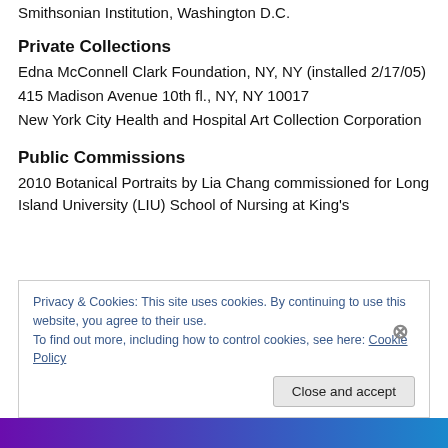Smithsonian Institution, Washington D.C.
Private Collections
Edna McConnell Clark Foundation, NY, NY (installed 2/17/05)
415 Madison Avenue 10th fl., NY, NY 10017
New York City Health and Hospital Art Collection Corporation
Public Commissions
2010 Botanical Portraits by Lia Chang commissioned for Long Island University (LIU) School of Nursing at King's
Privacy & Cookies: This site uses cookies. By continuing to use this website, you agree to their use.
To find out more, including how to control cookies, see here: Cookie Policy
Close and accept